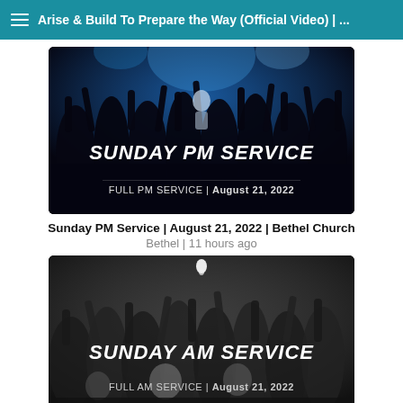Arise & Build To Prepare the Way (Official Video) | ...
[Figure (screenshot): Thumbnail image of Sunday PM Service showing crowd with raised hands and performers on stage with blue lighting. Text overlay reads 'SUNDAY PM SERVICE' and 'FULL PM SERVICE | August 21, 2022']
Sunday PM Service | August 21, 2022 | Bethel Church
Bethel | 11 hours ago
[Figure (screenshot): Thumbnail image of Sunday AM Service showing black and white crowd with raised hands. Text overlay reads 'SUNDAY AM SERVICE' and 'FULL AM SERVICE | August 21, 2022']